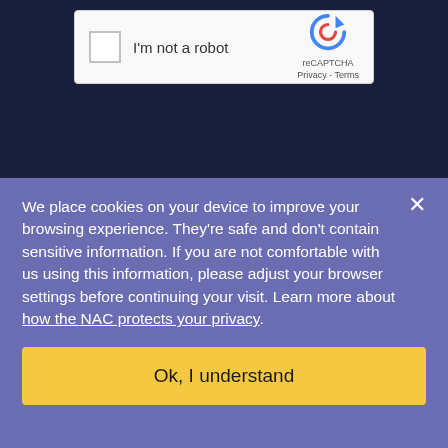[Figure (screenshot): reCAPTCHA widget showing a checkbox labeled 'I'm not a robot' with the reCAPTCHA logo and Privacy/Terms links, on a dark navy background]
We place cookies on your device to improve your browsing experience. They're safe and don't contain sensitive information. If you are not comfortable with us using this information, please adjust your browser settings before continuing your visit. Learn more about how the NAC protects your privacy.
Ok, I understand